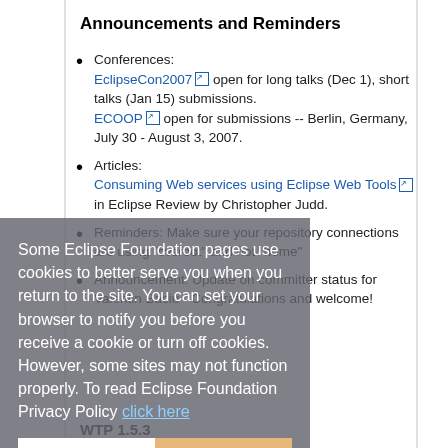Announcements and Reminders
Conferences: EclipseCon2007 open for long talks (Dec 1), short talks (Jan 15) submissions. ECOOP open for submissions -- Berlin, Germany, July 30 - August 3, 2007.
Articles: Consuming Web services using Eclipse Web Tools in Eclipse Review by Christopher Judd.
Reminders: Make sure your repository connections are using "cvsroot" and not "home"
Announcement: Update on committer status for Valentin Baciu - Congratulations and welcome!
Some Eclipse Foundation pages use cookies to better serve you when you return to the site. You can set your browser to notify you before you receive a cookie or turn off cookies. However, some sites may not function properly. To read Eclipse Foundation Privacy Policy click here
WTP 1.5.3